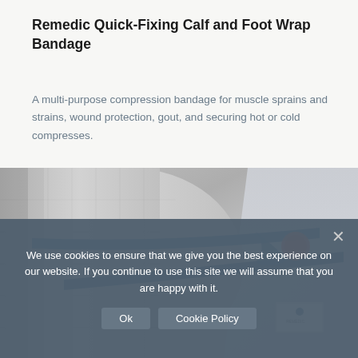Remedic Quick-Fixing Calf and Foot Wrap Bandage
A multi-purpose compression bandage for muscle sprains and strains, wound protection, gout, and securing hot or cold compresses.
[Figure (photo): Close-up photo of a person wearing the Remedic Quick-Fixing Calf and Foot Wrap Bandage on their leg, showing grey fabric with blue trim/straps crossing over, and a small product label visible.]
We use cookies to ensure that we give you the best experience on our website. If you continue to use this site we will assume that you are happy with it.